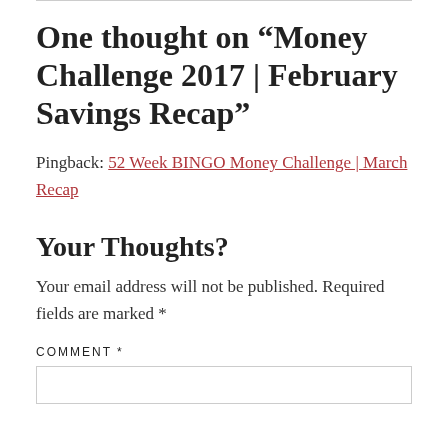One thought on “Money Challenge 2017 | February Savings Recap”
Pingback: 52 Week BINGO Money Challenge | March Recap
Your Thoughts?
Your email address will not be published. Required fields are marked *
COMMENT *